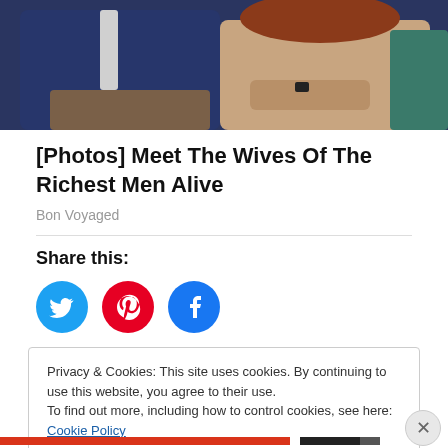[Figure (photo): A cropped photo showing two people sitting together — a man in a dark blue suit and a woman in a light lace top with auburn hair.]
[Photos] Meet The Wives Of The Richest Men Alive
Bon Voyaged
Share this:
[Figure (infographic): Three social share buttons: Twitter (blue), Pinterest (red), Facebook (blue)]
Privacy & Cookies: This site uses cookies. By continuing to use this website, you agree to their use.
To find out more, including how to control cookies, see here: Cookie Policy
Close and accept